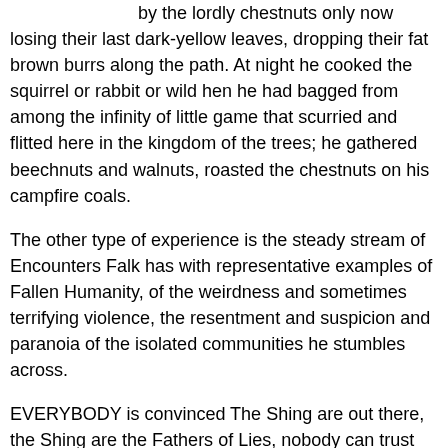by the lordly chestnuts only now losing their last dark-yellow leaves, dropping their fat brown burrs along the path. At night he cooked the squirrel or rabbit or wild hen he had bagged from among the infinity of little game that scurried and flitted here in the kingdom of the trees; he gathered beechnuts and walnuts, roasted the chestnuts on his campfire coals.
The other type of experience is the steady stream of Encounters Falk has with representative examples of Fallen Humanity, of the weirdness and sometimes terrifying violence, the resentment and suspicion and paranoia of the isolated communities he stumbles across.
EVERYBODY is convinced The Shing are out there, the Shing are the Fathers of Lies, nobody can trust anyone else – 'Are you Shing?' 'No, are you Shing?' – because the